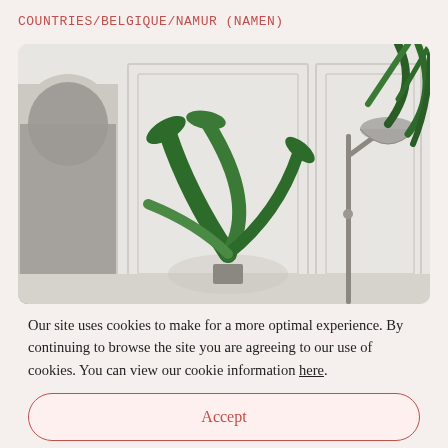COUNTRIES/BELGIQUE/NAMUR (NAMEN)
[Figure (photo): Interior room photo showing a white wall with decorative paneling, a green tropical plant (bird of paradise), a metal floor lamp with silver dome shade, and palm fronds in the top-right corner. An arched doorway is partially visible on the left.]
Our site uses cookies to make for a more optimal experience. By continuing to browse the site you are agreeing to our use of cookies. You can view our cookie information here.
Accept
Dismiss